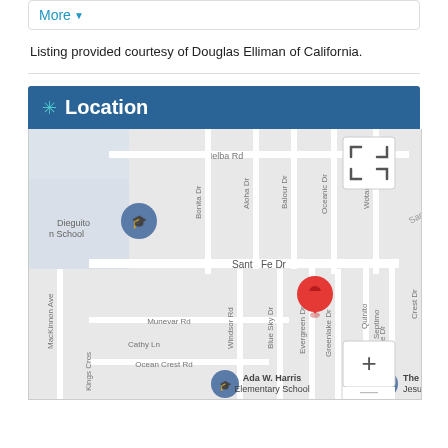More ▼
Listing provided courtesy of Douglas Elliman of California.
Location
[Figure (map): Google Maps view showing Santa Fe Dr area with a red location pin. Streets visible include Melba Rd, Bonita Dr, Aloha Dr, Balour Dr, Oceanic Dr, Wotan Dr, MacKinnon Ave, Windsor Rd, Blue Sky Dr, Evergreen Dr, Greenlake Dr, Quinito, Septimo, Lake Dr, Crest Dr, Munevar Rd, Cathy Ln, Ocean Crest Rd, Kings Cross. Landmarks include Dieguito School, Ada W. Harris Elementary School, and The Church of Jesus Christ. Map controls include fullscreen button and +/- zoom buttons.]